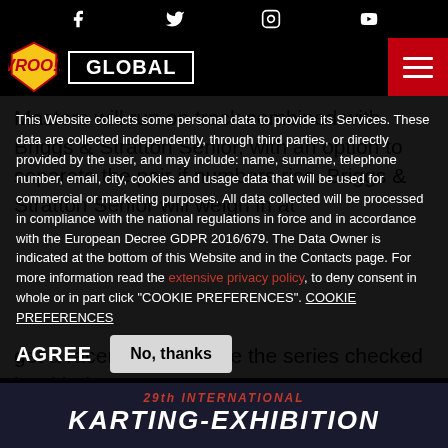Social media icons: Facebook, Twitter, Instagram, YouTube
VROO!! GLOBAL [hamburger menu]
Masters will run on track combined with Briggs & Stratton Senior, with an option to separate the pair if numbers rise. Briggs & Stratton Senior will weigh in at
This Website collects some personal data to provide its Services. These data are collected independently, through third parties, or directly provided by the user, and may include: name, surname, telephone number, email, city, cookies and usage data that will be used for commercial or marketing purposes. All data collected will be processed in compliance with the national regulations in force and in accordance with the European Decree GDPR 2016/679. The Data Owner is indicated at the bottom of this Website and in the Contacts page. For more information read the extensive privacy policy, to deny consent in whole or in part click "COOKIE PREFERENCES". COOKIE PREFERENCES
get a racer's perspective the series checked in with the
[Figure (other): 29th INTERNATIONAL KARTING-EXHIBITION banner at bottom of page]